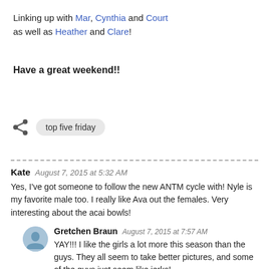Linking up with Mar, Cynthia and Court as well as Heather and Clare!
Have a great weekend!!
top five friday
Kate  August 7, 2015 at 5:32 AM
Yes, I've got someone to follow the new ANTM cycle with! Nyle is my favorite male too. I really like Ava out the females. Very interesting about the acai bowls!
Gretchen Braun  August 7, 2015 at 7:57 AM
YAY!!! I like the girls a lot more this season than the guys. They all seem to take better pictures, and some of the guys just seem like jerks!